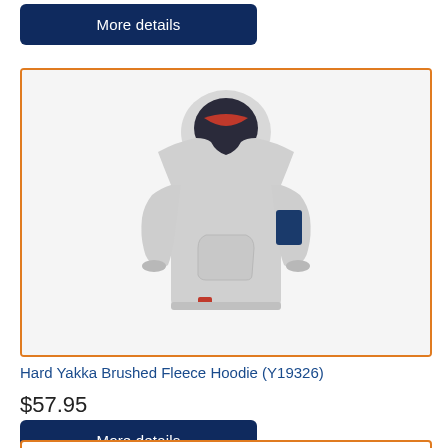[Figure (other): Dark navy blue 'More details' button at top of page]
[Figure (photo): Hard Yakka Brushed Fleece Hoodie (Y19326) - a light grey pullover hoodie with navy blue accent on the left sleeve, hood with dark lining, and front kangaroo pocket, shown on a light grey background inside an orange-bordered product card]
Hard Yakka Brushed Fleece Hoodie (Y19326)
$57.95
[Figure (other): Dark navy blue 'More details' button]
[Figure (other): Partial view of another orange-bordered product card at bottom of page]